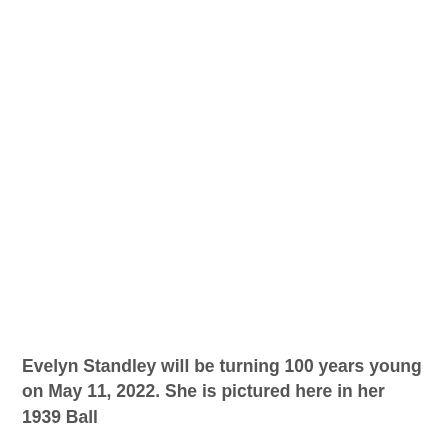[Figure (photo): A photograph occupying the upper portion of the page (content not visible in this crop — appears as white/blank space).]
Evelyn Standley will be turning 100 years young on May 11, 2022.  She is pictured here in her 1939 Ball